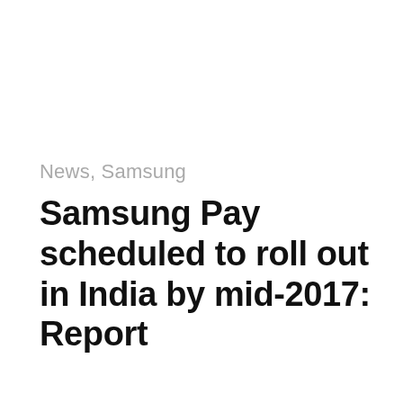News,  Samsung
Samsung Pay scheduled to roll out in India by mid-2017: Report